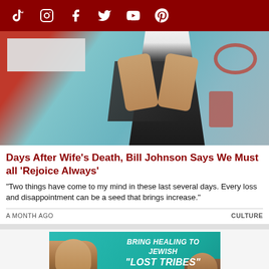TikTok Instagram Facebook Twitter YouTube Pinterest
[Figure (photo): Person in white t-shirt and dark apron/vest holding camera straps, photographed from chest down, in front of colorful blue and red mural background. A white/gray rectangular block is in the upper left portion of the image.]
Days After Wife's Death, Bill Johnson Says We Must all 'Rejoice Always'
"Two things have come to my mind in these last several days. Every loss and disappointment can be a seed that brings increase."
A MONTH AGO
CULTURE
[Figure (infographic): Advertisement image with teal/green background showing two people (one appears to be a medical worker) with white bold italic text reading 'BRING HEALING TO JEWISH "LOST TRIBES" IN ETHIOPIA']